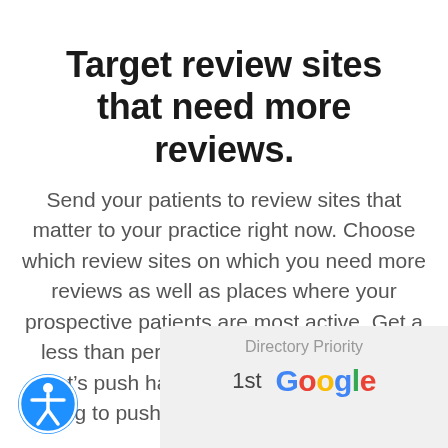Target review sites that need more reviews.
Send your patients to review sites that matter to your practice right now. Choose which review sites on which you need more reviews as well as places where your prospective patients are most active. Get a less than perfect review on Yelp?  Then let’s push happy patients to your Yelp listing to push that negative review down.
[Figure (other): Accessibility icon button — blue circle with white person/wheelchair symbol]
| Directory Priority |
| --- |
| 1st | Google |